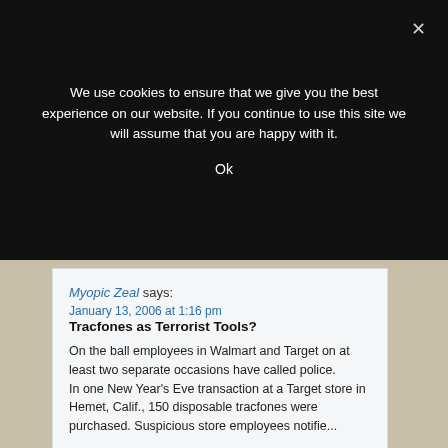We use cookies to ensure that we give you the best experience on our website. If you continue to use this site we will assume that you are happy with it.
Ok
Myopic Zeal says:
January 13, 2006 at 1:16 pm
Tracfones as Terrorist Tools?
On the ball employees in Walmart and Target on at least two separate occasions have called police.
In one New Year's Eve transaction at a Target store in Hemet, Calif., 150 disposable tracfones were purchased. Suspicious store employees notifie...